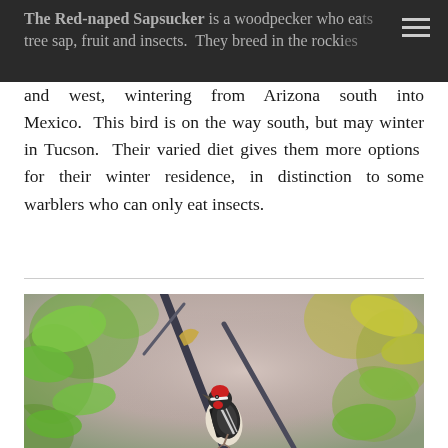The Red-naped Sapsucker is a woodpecker who eats tree sap, fruit and insects.  They breed in the rockies and west, wintering from Arizona south into Mexico.
and west, wintering from Arizona south into Mexico.  This bird is on the way south, but may winter in Tucson.  Their varied diet gives them more options for their winter residence, in distinction to some warblers who can only eat insects.
[Figure (photo): A Red-naped Sapsucker woodpecker clinging to a tree branch among green and yellow-green leaves, with a blurred soft background of pinks and greens. The bird has a red cap, white and black striped face, and mottled black-and-white body.]